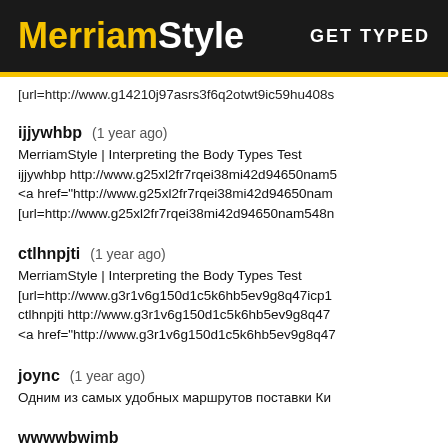MerriamStyle  GET TYPED
[url=http://www.g14210j97asrs3f6q2otwt9ic59hu408s
ijjywhbp (1 year ago)
MerriamStyle | Interpreting the Body Types Test
ijjywhbp http://www.g25xl2fr7rqei38mi42d94650nam5
<a href="http://www.g25xl2fr7rqei38mi42d94650nam
[url=http://www.g25xl2fr7rqei38mi42d94650nam548n
ctlhnpjti (1 year ago)
MerriamStyle | Interpreting the Body Types Test
[url=http://www.g3r1v6g150d1c5k6hb5ev9g8q47icp1
ctlhnpjti http://www.g3r1v6g150d1c5k6hb5ev9g8q47
<a href="http://www.g3r1v6g150d1c5k6hb5ev9g8q47
joync (1 year ago)
Одним из самых удобных маршрутов поставки Ки
wwwwbwimb